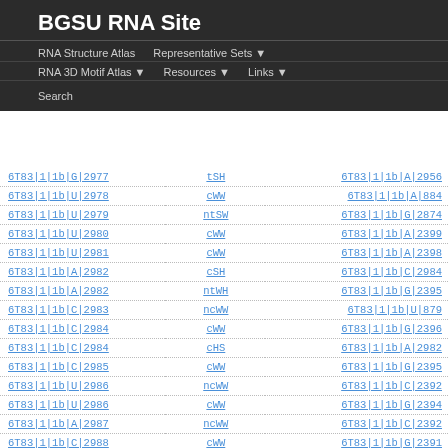BGSU RNA Site
RNA Structure Atlas   Representative Sets ▼   RNA 3D Motif Atlas ▼   Resources ▼   Links ▼   Search
| Nucleotide 1 | Interaction | Nucleotide 2 |
| --- | --- | --- |
| 6T83|1|1b|G|2977 | tSH | 6T83|1|1b|A|2956 |
| 6T83|1|1b|U|2978 | cWW | 6T83|1|1b|A|884 |
| 6T83|1|1b|U|2979 | ntSW | 6T83|1|1b|G|2874 |
| 6T83|1|1b|U|2980 | cWW | 6T83|1|1b|A|2399 |
| 6T83|1|1b|U|2981 | cWW | 6T83|1|1b|A|2398 |
| 6T83|1|1b|A|2982 | cSH | 6T83|1|1b|C|2984 |
| 6T83|1|1b|A|2982 | ntWH | 6T83|1|1b|G|2395 |
| 6T83|1|1b|C|2983 | ncWW | 6T83|1|1b|U|879 |
| 6T83|1|1b|C|2984 | cWW | 6T83|1|1b|G|2396 |
| 6T83|1|1b|C|2984 | cHS | 6T83|1|1b|A|2982 |
| 6T83|1|1b|C|2985 | cWW | 6T83|1|1b|G|2395 |
| 6T83|1|1b|U|2986 | ncWW | 6T83|1|1b|C|2392 |
| 6T83|1|1b|U|2986 | cWW | 6T83|1|1b|G|2394 |
| 6T83|1|1b|A|2987 | ncWW | 6T83|1|1b|C|2392 |
| 6T83|1|1b|C|2988 | cWW | 6T83|1|1b|G|2391 |
| 6T83|1|1b|U|2989 | cWW | 6T83|1|1b|A|2390 |